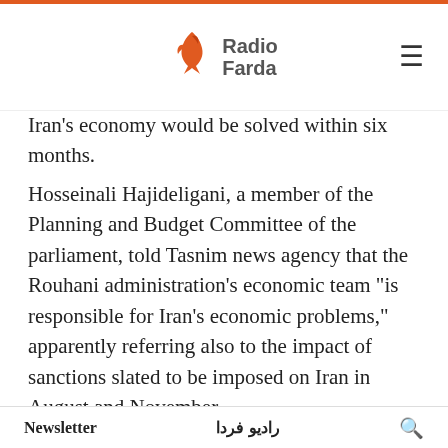[Figure (logo): Radio Farda logo with orange bird/flame icon and gray 'Radio Farda' text]
Iran's economy would be solved within six months.
Hosseinali Hajideligani, a member of the Planning and Budget Committee of the parliament, told Tasnim news agency that the Rouhani administration's economic team "is responsible for Iran's economic problems," apparently referring also to the impact of sanctions slated to be imposed on Iran in August and November.
In another move, members of the parliament tabled a motion on July 24 to launch an investigation into the allocation of foreign currencies to some companies at a lower rate. The rate was introduced
Newsletter   رادیو فردا   🔍